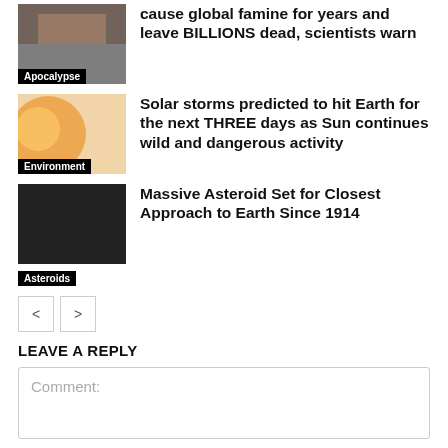[Figure (photo): Thumbnail image with 'Apocalypse' label — partial view of a disaster/apocalypse scene]
cause global famine for years and leave BILLIONS dead, scientists warn
[Figure (photo): Thumbnail image with 'Environment' label — orange/fire solar flare image]
Solar storms predicted to hit Earth for the next THREE days as Sun continues wild and dangerous activity
[Figure (photo): Dark/black thumbnail image — asteroid story]
Massive Asteroid Set for Closest Approach to Earth Since 1914
Asteroids
< >
LEAVE A REPLY
Comment: